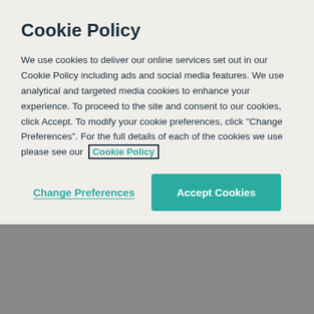Cookie Policy
We use cookies to deliver our online services set out in our Cookie Policy including ads and social media features. We use analytical and targeted media cookies to enhance your experience. To proceed to the site and consent to our cookies, click Accept. To modify your cookie preferences, click "Change Preferences". For the full details of each of the cookies we use please see our Cookie Policy
Change Preferences
Accept Cookies
[Figure (photo): Blurred background section showing a video thumbnail area and a person avatar with name label 'Jamie Organ']